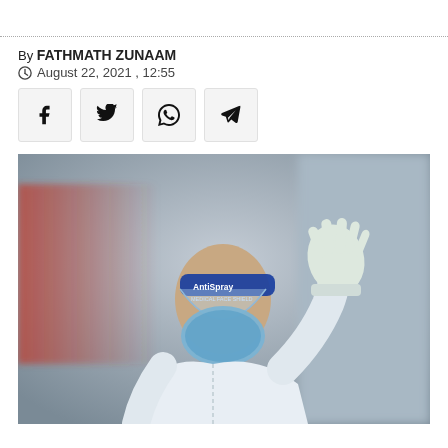By FATHMATH ZUNAAM
August 22, 2021 , 12:55
[Figure (other): Social media share buttons: Facebook, Twitter, WhatsApp, Telegram]
[Figure (photo): A person wearing full PPE including white hazmat suit, blue surgical mask, clear face shield labeled AntiSpray Medical Face Shield, and white gloves, raising one hand in a stop or wave gesture. Blurred background suggests an outdoor urban setting.]